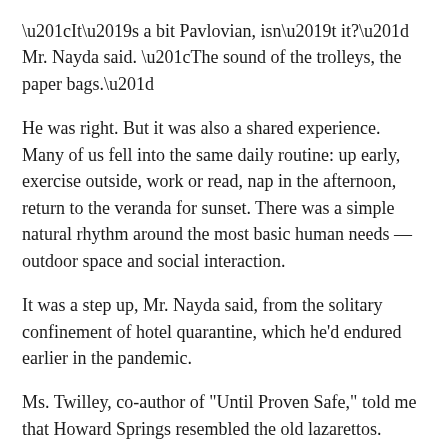“It’s a bit Pavlovian, isn’t it?” Mr. Nayda said. “The sound of the trolleys, the paper bags.”
He was right. But it was also a shared experience. Many of us fell into the same daily routine: up early, exercise outside, work or read, nap in the afternoon, return to the veranda for sunset. There was a simple natural rhythm around the most basic human needs — outdoor space and social interaction.
It was a step up, Mr. Nayda said, from the solitary confinement of hotel quarantine, which he’d endured earlier in the pandemic.
Ms. Twilley, co-author of “Until Proven Safe,” told me that Howard Springs resembled the old lazarettos.
The “centers for national resilience” may echo that past — as part of Australia’s strict system of border control, often